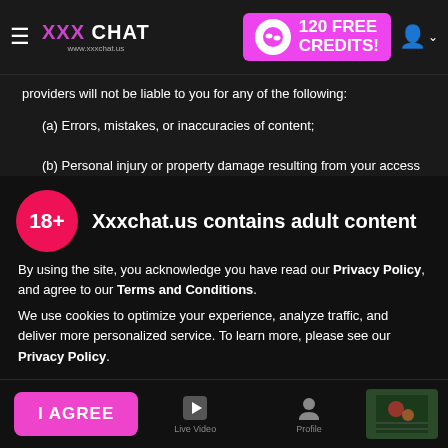XXX CHAT www.xxxchat.us | 120 FREE CREDITS!
providers will not be liable to you for any of the following:
(a) Errors, mistakes, or inaccuracies of content;
(b) Personal injury or property damage resulting from your access to and use of the Website or its content;
(c) Content (including User Contributions) or conduct that is infringing, inaccurate, obscene, indecent, offensive, threatening, harassing, defamatory, libelous, abusive, invasive of privacy, or illegal;
(d) Unauthorized access to or use of the Company’s servers and any personal or financial information stored in them, including unauthorized access or changes to your account, submissions,
Xxxchat.us contains adult content
By using the site, you acknowledge you have read our Privacy Policy, and agree to our Terms and Conditions.
We use cookies to optimize your experience, analyze traffic, and deliver more personalized service. To learn more, please see our Privacy Policy.